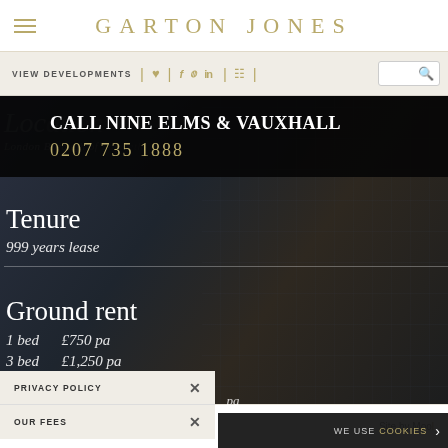GARTON JONES
VIEW DEVELOPMENTS
[Figure (screenshot): Garton Jones website screenshot showing a property listing for Nine Elms & Vauxhall with call banner, tenure information (999 years lease), ground rent details (1 bed £750 pa, 3 bed £1,250 pa), privacy policy and our fees overlays, and a cookies notification bar. Background shows urban building photography.]
CALL NINE ELMS & VAUXHALL
0207 735 1888
Tenure
999 years lease
Ground rent
1 bed  £750 pa
3 bed  £1,250 pa
PRIVACY POLICY  ×
OUR FEES  ×
WE USE COOKIES ›
Contact Us ▲  Site by Moo